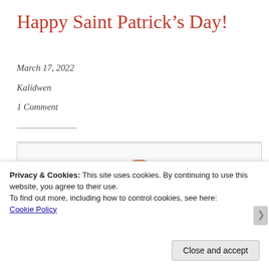Happy Saint Patrick’s Day!
March 17, 2022
Kalidwen
1 Comment
[Figure (illustration): Illustration of a woman with red hair holding a bottle up in one hand and a blue glass in the other hand, smiling. Partially obscured text in green at the bottom of the image.]
Privacy & Cookies: This site uses cookies. By continuing to use this website, you agree to their use.
To find out more, including how to control cookies, see here:
Cookie Policy